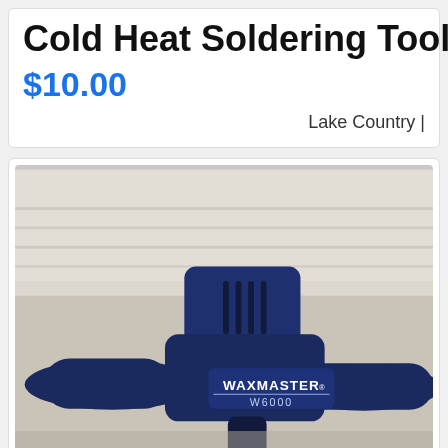Cold Heat Soldering Tool
$10.00
Lake Country |
[Figure (photo): A blue Waxmaster W6000 handheld polishing/soldering tool resting on a white fluffy towel or cloth surface. The tool is dark navy blue with a pistol-grip handle and ventilation slots on the top housing. The brand name WAXMASTER and model W6000 are printed in white on the body.]